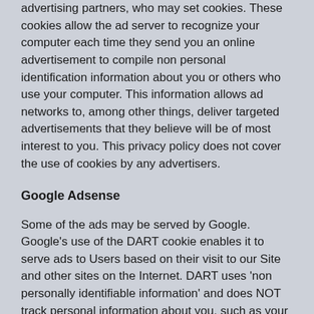advertising partners, who may set cookies. These cookies allow the ad server to recognize your computer each time they send you an online advertisement to compile non personal identification information about you or others who use your computer. This information allows ad networks to, among other things, deliver targeted advertisements that they believe will be of most interest to you. This privacy policy does not cover the use of cookies by any advertisers.
Google Adsense
Some of the ads may be served by Google. Google's use of the DART cookie enables it to serve ads to Users based on their visit to our Site and other sites on the Internet. DART uses 'non personally identifiable information' and does NOT track personal information about you, such as your name, email address, physical address, etc. You may opt out of the use of the DART cookie by visiting the Google ad and content network privacy policy at http://www.google.com/privacy_ads.html